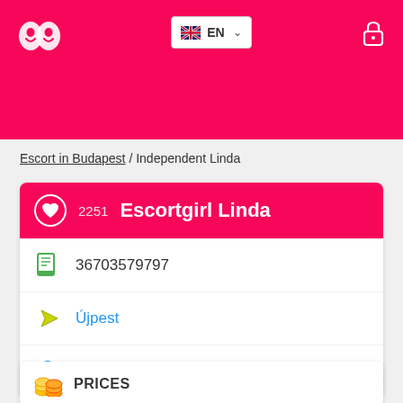[Figure (screenshot): Website header with pink/magenta background, white logo (two circles with faces), language selector showing EN with UK flag, and white lock icon]
Escort in Budapest / Independent Linda
2251 Escortgirl Linda
36703579797
Újpest
Deak Ferenc ter
PRICES